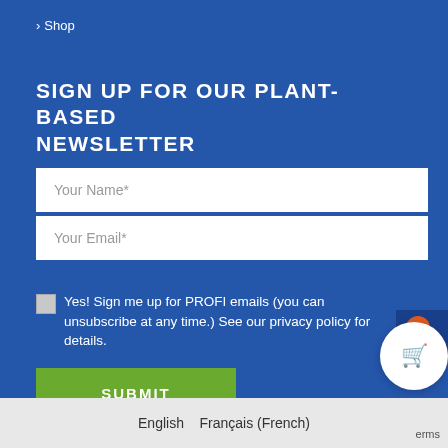> Shop
SIGN UP FOR OUR PLANT-BASED NEWSLETTER
Your Name*
Your Email*
Yes! Sign me up for PROFI emails (you can unsubscribe at any time.) See our privacy policy for details.
SUBMIT
English   Français (French)